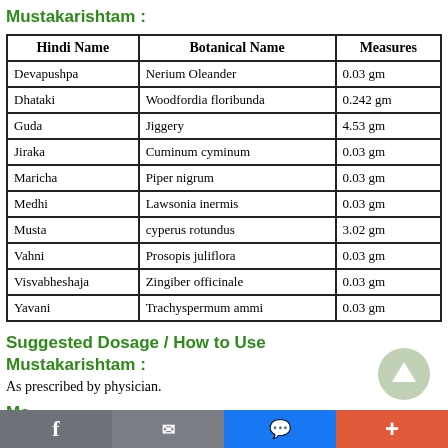Mustakarishtam :
| Hindi Name | Botanical Name | Measures |
| --- | --- | --- |
| Devapushpa | Nerium Oleander | 0.03 gm |
| Dhataki | Woodfordia floribunda | 0.242 gm |
| Guda | Jiggery | 4.53 gm |
| Jiraka | Cuminum cyminum | 0.03 gm |
| Maricha | Piper nigrum | 0.03 gm |
| Medhi | Lawsonia inermis | 0.03 gm |
| Musta | cyperus rotundus | 3.02 gm |
| Vahni | Prosopis juliflora | 0.03 gm |
| Visvabheshaja | Zingiber officinale | 0.03 gm |
| Yavani | Trachyspermum ammi | 0.03 gm |
Suggested Dosage / How to Use Mustakarishtam :
As prescribed by physician.
Manufacturer